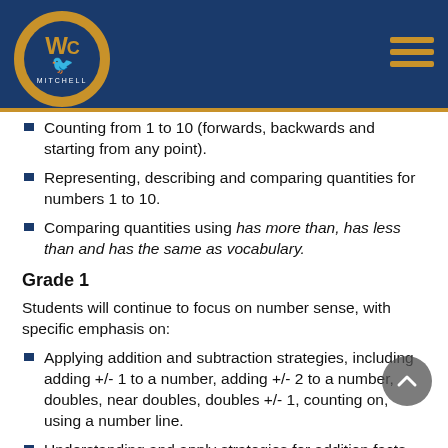[Figure (logo): Mitchell school logo — circular badge with WC initials and bird on dark blue background with gold border]
Counting from 1 to 10 (forwards, backwards and starting from any point).
Representing, describing and comparing quantities for numbers 1 to 10.
Comparing quantities using has more than, has less than and has the same as vocabulary.
Grade 1
Students will continue to focus on number sense, with specific emphasis on:
Applying addition and subtraction strategies, including adding +/- 1 to a number, adding +/- 2 to a number, doubles, near doubles, doubles +/- 1, counting on, using a number line.
Understanding and apply strategies for addition facts up to and including 9 + 9 and related subtraction facts. Recall addition facts to a sum of 5 and related subtraction facts.
Grade 2